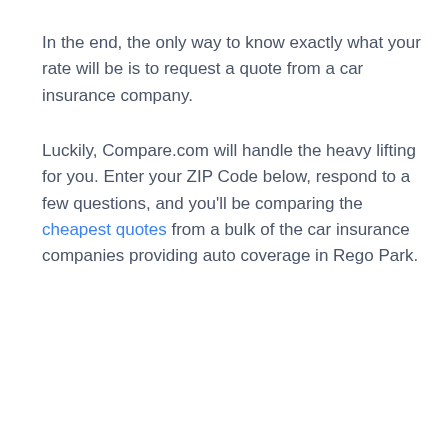In the end, the only way to know exactly what your rate will be is to request a quote from a car insurance company.
Luckily, Compare.com will handle the heavy lifting for you. Enter your ZIP Code below, respond to a few questions, and you'll be comparing the cheapest quotes from a bulk of the car insurance companies providing auto coverage in Rego Park.
[Figure (other): Insurance quote widget with subtitle 'Compare the cheapest quotes from dozens of insurance companies', a ZIP code input field with location pin icon and placeholder 'Your Zip', and a blue 'Start Comparing' button with arrow.]